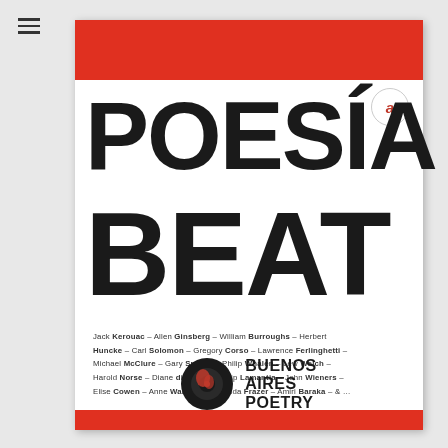[Figure (illustration): Book cover of 'Poesía Beat' published by Buenos Aires Poetry. Red background with white panel insert showing large bold black title text 'POESÍA BEAT', list of Beat Generation author names, and Buenos Aires Poetry logo at bottom.]